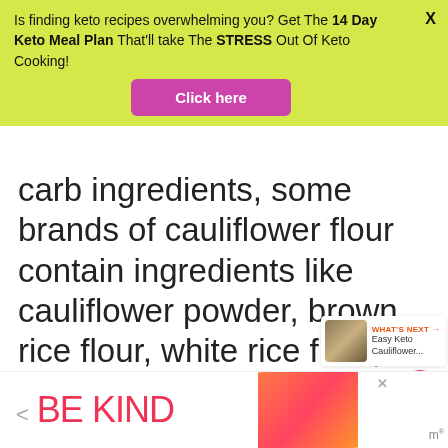Is finding keto recipes overwhelming you? Get The 14 Day Keto Meal Plan That'll take The STRESS Out Of Keto Cooking! [Click here]
carb ingredients, some brands of cauliflower flour contain ingredients like cauliflower powder, brown rice flour, white rice flour, potato starch, and tapioca flour which are not allowed on keto.
[Figure (infographic): Heart icon (pink circle with white heart) and share icon (circle with share symbol) on the right side of the page]
[Figure (infographic): What's Next widget showing a thumbnail image of cauliflower dish with text 'WHAT'S NEXT → Easy Keto Cauliflower...']
[Figure (infographic): Bottom advertisement banner showing 'BE KIND' text in red/pink with decorative orange/red illustrated element and a logo on the right]